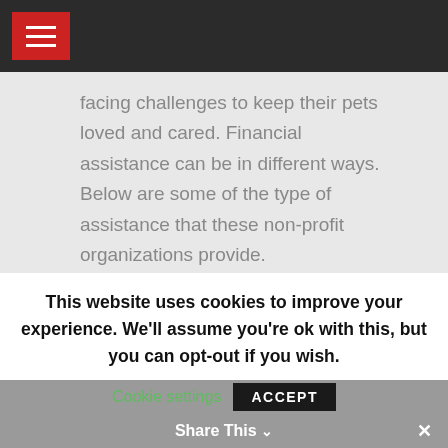[hamburger menu icon]
facing challenges to keep their pets loved and cared. Financial assistance can be in different ways. Below are some of the type of assistance that these non-profit organizations provide.
[Figure (photo): A smiling female veterinarian in a white coat with a stethoscope standing next to a white horse with a bridle, outdoors in a park with autumn yellow-green trees in the background.]
This website uses cookies to improve your experience. We'll assume you're ok with this, but you can opt-out if you wish.
Cookie settings   ACCEPT   Share This ∨  ✕